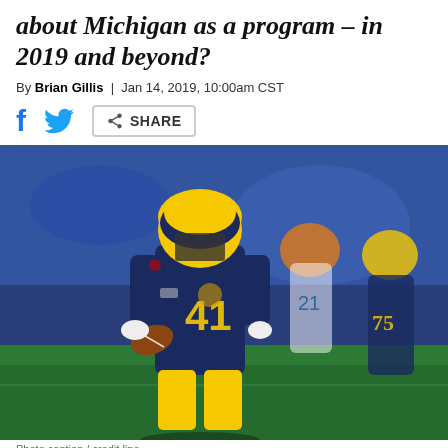about Michigan as a program – in 2019 and beyond?
By Brian Gillis | Jan 14, 2019, 10:00am CST
[Figure (photo): Michigan Wolverines football player #41 in navy and yellow uniform carrying the ball during a game, with Florida Gators players in background and a Michigan player #75 visible]
Photo caption credit line (partially visible)